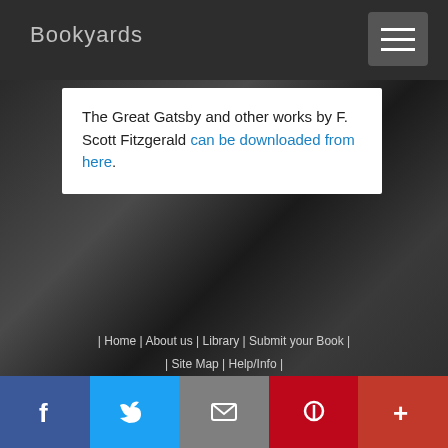Bookyards
The Great Gatsby and other works by F. Scott Fitzgerald can be downloaded from here.
| Home | About us | Library | Submit your Book | Site Map | Help/Info | | Link To Us | Our Goal | Advertise with us | Legal Policy | Contact Us |
[Figure (screenshot): Social media icons row: Facebook (blue), Twitter (light blue), Tumblr (dark blue), Pinterest (red), Blogger (orange), YouTube (red)]
[Figure (screenshot): Bottom share bar with Facebook, Twitter, Email, Pinterest, and More (+) buttons]